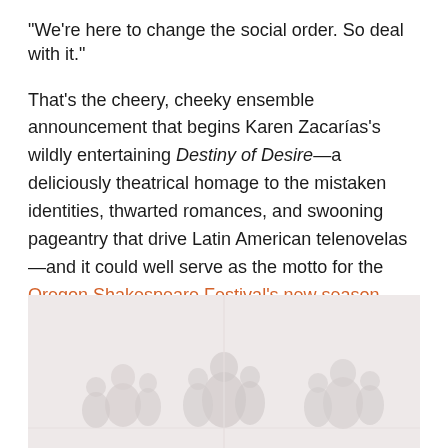“We’re here to change the social order. So deal with it.”
That’s the cheery, cheeky ensemble announcement that begins Karen Zacarías’s wildly entertaining Destiny of Desire—a deliciously theatrical homage to the mistaken identities, thwarted romances, and swooning pageantry that drive Latin American telenovelas—and it could well serve as the motto for the Oregon Shakespeare Festival’s new season.
[Figure (photo): A faded, low-contrast black-and-white or sepia-toned photograph showing multiple figures on what appears to be a stage, arranged in groups across the frame.]